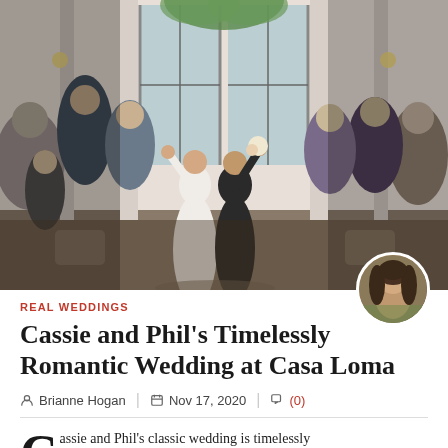[Figure (photo): Wedding photo of Cassie and Phil walking down the aisle at Casa Loma, hands raised in celebration, surrounded by cheering guests in an elegant venue with large windows and floral arrangements.]
[Figure (photo): Circular avatar portrait of author Brianne Hogan, a woman with long brown hair.]
REAL WEDDINGS
Cassie and Phil's Timelessly Romantic Wedding at Casa Loma
Brianne Hogan | Nov 17, 2020 | (0)
assie and Phil's classic wedding is timelessly